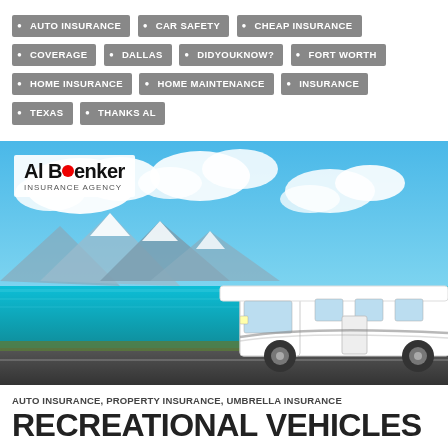AUTO INSURANCE
CAR SAFETY
CHEAP INSURANCE
COVERAGE
DALLAS
DIDYOUKNOW?
FORT WORTH
HOME INSURANCE
HOME MAINTENANCE
INSURANCE
TEXAS
THANKS AL
[Figure (photo): White RV/motorhome driving along a road beside a bright turquoise lake with snow-capped mountains and blue sky with clouds in the background. Al Boenker Insurance Agency logo overlaid top-left.]
AUTO INSURANCE, PROPERTY INSURANCE, UMBRELLA INSURANCE
RECREATIONAL VEHICLES